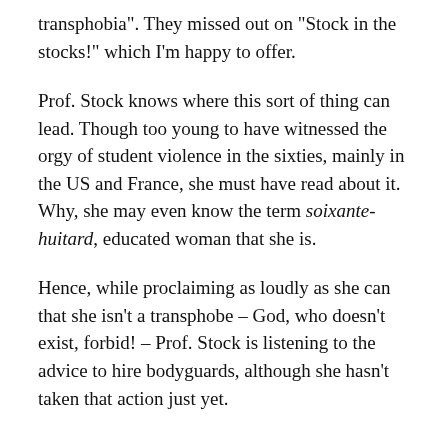transphobia". They missed out on “Stock in the stocks!” which I’m happy to offer.
Prof. Stock knows where this sort of thing can lead. Though too young to have witnessed the orgy of student violence in the sixties, mainly in the US and France, she must have read about it. Why, she may even know the term soixante-huitard, educated woman that she is.
Hence, while proclaiming as loudly as she can that she isn’t a transphobe – God, who doesn’t exist, forbid! – Prof. Stock is listening to the advice to hire bodyguards, although she hasn’t taken that action just yet.